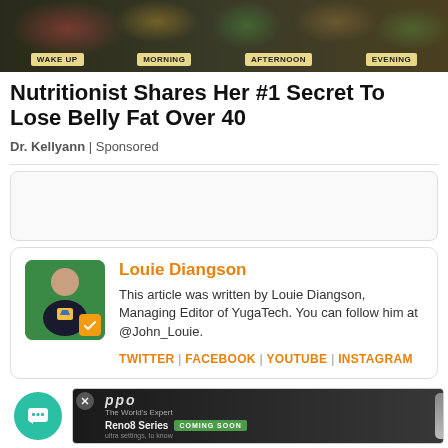[Figure (photo): Advertisement banner showing a table with foods organized by meal time: Wake Up, Morning, Afternoon, Evening labels on a dark background with colorful foods.]
Nutritionist Shares Her #1 Secret To Lose Belly Fat Over 40
Dr. Kellyann | Sponsored
[Figure (other): Empty advertisement box placeholder with rounded border]
Louie Diangson
This article was written by Louie Diangson, Managing Editor of YugaTech. You can follow him at @John_Louie.
TWITTER | FACEBOOK | YOUTUBE | INSTAGRAM
[Figure (other): OPPO Reno8 Series advertisement banner at bottom of page with Coming Soon tag and chat button overlay]